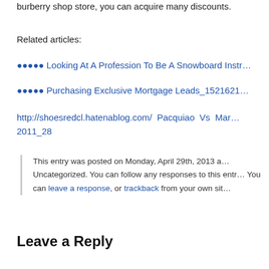burberry shop store, you can acquire many discounts.
Related articles:
●●●●● Looking At A Profession To Be A Snowboard Instr…
●●●●● Purchasing Exclusive Mortgage Leads_1521621…
http://shoesredcl.hatenablog.com/ Pacquiao Vs Mar… 2011_28
This entry was posted on Monday, April 29th, 2013 a… Uncategorized. You can follow any responses to this entr… You can leave a response, or trackback from your own sit…
Leave a Reply
You must be logged in to post a comment.
Drunken Munchies Nachtportal is proudly power… Entries (RSS) and Comments (RS…